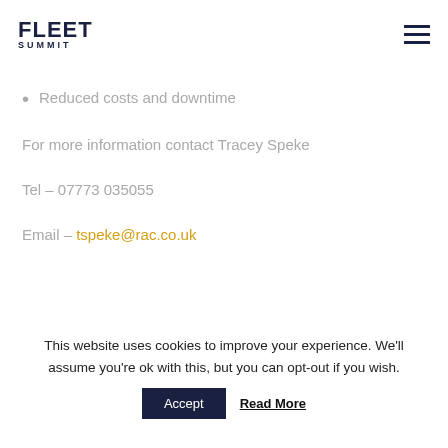FLEET SUMMIT
Reduced costs and downtime
For more information contact Tracey Speke
Tel – 07773 035055
Email – tspeke@rac.co.uk
This website uses cookies to improve your experience. We'll assume you're ok with this, but you can opt-out if you wish.
Accept  Read More